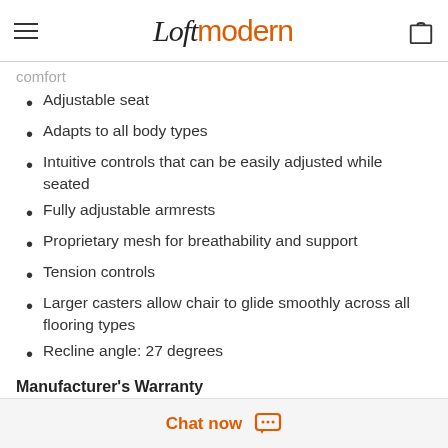Loftmodern
comfort
Adjustable seat
Adapts to all body types
Intuitive controls that can be easily adjusted while seated
Fully adjustable armrests
Proprietary mesh for breathability and support
Tension controls
Larger casters allow chair to glide smoothly across all flooring types
Recline angle: 27 degrees
Manufacturer's Warranty
10-year Limited Repair or Replacement Warranty
Item Code